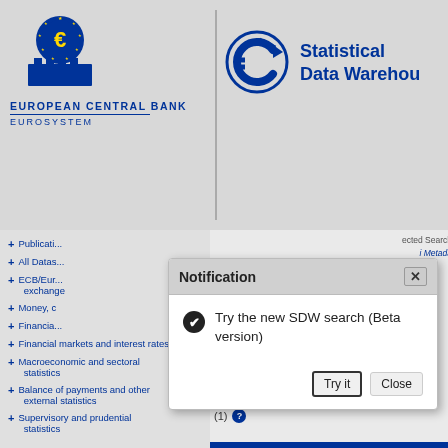[Figure (screenshot): European Central Bank / Eurosystem logo with blue star circle and building icon]
EUROPEAN CENTRAL BANK
EUROSYSTEM
[Figure (logo): Statistical Data Warehouse (SDW) logo - blue circular arrow icon with text 'Statistical Data Warehouse']
+ Publications
+ All Datasets
+ ECB/Eur... exchange
+ Money, c
+ Financial
+ Financial markets and interest rates
+ Macroeconomic and sectoral statistics
+ Balance of payments and other external statistics
+ Supervisory and prudential statistics
ected Search
i Metada
1.S1.LE.N.
1.S1.LE.N.
1.S1.LE.N.
1.S1.LE.N.
1.S1.LE.N.
BP6.Q.N.I8.W1.S1.S1.LE.N.
BP6.Q.N.I8.W1.S121.S1.LE.
?
Available Datasets
(1)
[Figure (screenshot): Notification modal dialog with header 'Notification', close button (x), checkbox icon with message 'Try the new SDW search (Beta version)', and buttons 'Try it' and 'Close']
Notification
Try the new SDW search (Beta version)
Try it
Close